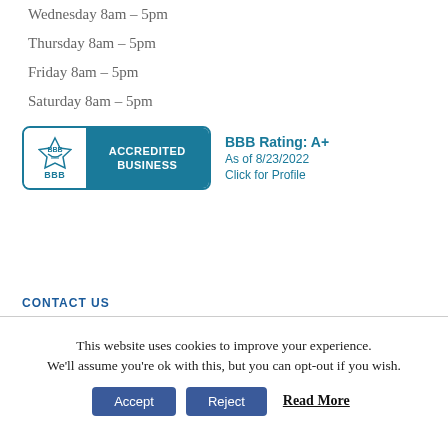Wednesday 8am – 5pm
Thursday 8am – 5pm
Friday 8am – 5pm
Saturday 8am – 5pm
[Figure (logo): BBB Accredited Business badge with BBB Rating: A+ as of 8/23/2022, Click for Profile]
CONTACT US
This website uses cookies to improve your experience. We'll assume you're ok with this, but you can opt-out if you wish.
Accept   Reject   Read More